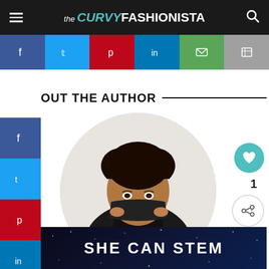the CURVY FASHIONISTA
[Figure (screenshot): Social share buttons row: Facebook, Twitter, Pinterest, LinkedIn, Email, Print]
OUT THE AUTHOR
[Figure (photo): Author photo: woman with curly hair holding black fabric over face, circular crop]
[Figure (infographic): SHE CAN STEM banner text on dark background]
WHAT'S NEXT → Plus Model Tara Lynn o...
[Figure (screenshot): Left sidebar social share buttons: Facebook, Twitter, Pinterest, LinkedIn]